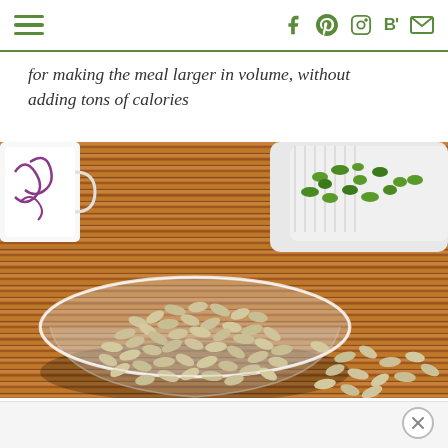Navigation menu and social icons (Facebook, Pinterest, Instagram, Bloglovin', Email)
for making the meal larger in volume, without adding tons of calories
[Figure (photo): A glass bowl filled with sunflower seeds on a wooden mat surface, with a white ceramic bowl of green edamame beans in the background and scattered sunflower seeds in the foreground.]